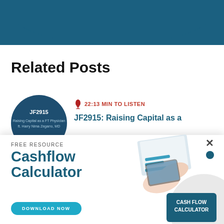[Figure (illustration): Teal/dark blue rounded bar at top of page, used as decorative header element]
Related Posts
[Figure (illustration): Circular podcast thumbnail for JF2915 episode 'Raising Capital as a FT Physician ft. Harry Nima Zegarra, MD' with dark blue background]
22:13 MIN TO LISTEN
JF2915: Raising Capital as a
FREE RESOURCE
Cashflow Calculator
[Figure (illustration): Cashflow Calculator promotional widget showing hands with tablet, financial charts, and a dark blue card badge reading CASH FLOW CALCULATOR with a close X button and blue dot]
DOWNLOAD NOW